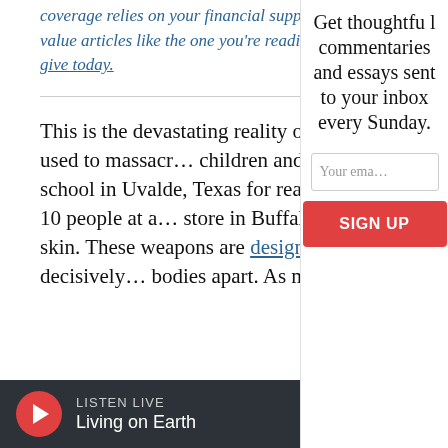coverage relies on your financial support. If you value articles like the one you're reading, please give today.
This is the devastating reality of assault weapons — the kind used to massacre children and two teachers at an elementary school in Uvalde, Texas for reasons we'll never know, and to slaughter 10 people at a grocery store in Buffalo, solely because of the color of their skin. These weapons are designed for one thing, to savagely and decisively blow bodies apart. As many as possible, as
Get thoughtful commentaries and essays sent to your inbox every Sunday.
Your email
SIGN UP
LISTEN LIVE
Living on Earth